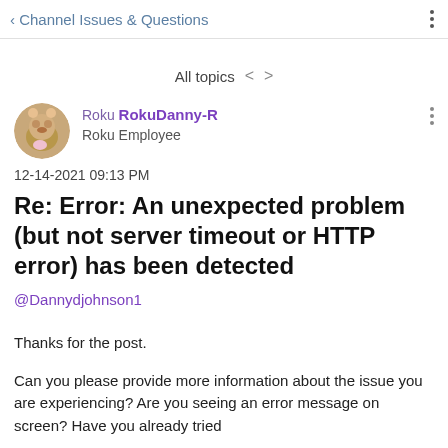Channel Issues & Questions
All topics
[Figure (photo): Circular avatar photo of a teddy bear with a pink bow]
Roku RokuDanny-R Roku Employee
12-14-2021 09:13 PM
Re: Error: An unexpected problem (but not server timeout or HTTP error) has been detected
@Dannydjohnson1
Thanks for the post.

Can you please provide more information about the issue you are experiencing? Are you seeing an error message on screen? Have you already tried